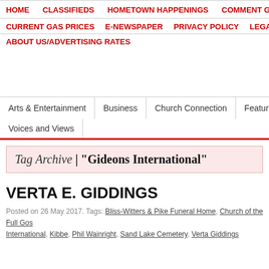HOME | CLASSIFIEDS | HOMETOWN HAPPENINGS | COMMENT GUI...
CURRENT GAS PRICES | E-NEWSPAPER | PRIVACY POLICY | LEGA...
ABOUT US/ADVERTISING RATES
Arts & Entertainment | Business | Church Connection | Feature... | Voices and Views
Tag Archive | "Gideons International"
VERTA E. GIDDINGS
Posted on 26 May 2017. Tags: Bliss-Witters & Pike Funeral Home, Church of the Full Go... International, Kibbe, Phil Wainright, Sand Lake Cemetery, Verta Giddings